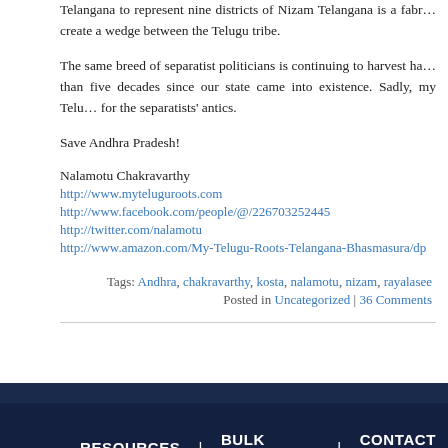Telangana to represent nine districts of Nizam Telangana is a fabr... create a wedge between the Telugu tribe.
The same breed of separatist politicians is continuing to harvest ha... than five decades since our state came into existence. Sadly, my Telu... for the separatists' antics.
Save Andhra Pradesh!
Nalamotu Chakravarthy
http://www.myteluguroots.com
http://www.facebook.com/people/@/226703252445
http://twitter.com/nalamotu
http://www.amazon.com/My-Telugu-Roots-Telangana-Bhasmasura/dp...
Tags: Andhra, chakravarthy, kosta, nalamotu, nizam, rayalasee...
Posted in Uncategorized | 36 Comments
RESOURCES | BULK ORDERS | CONTACT ME